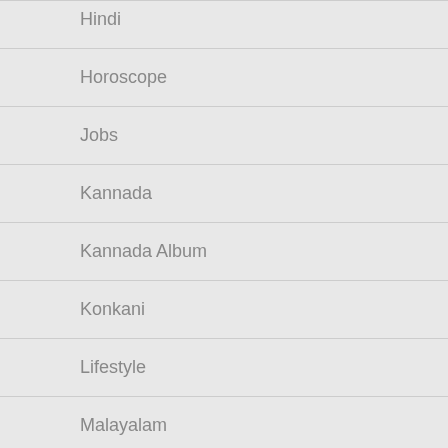Hindi
Horoscope
Jobs
Kannada
Kannada Album
Konkani
Lifestyle
Malayalam
Movie
Music
Sports
Tamil